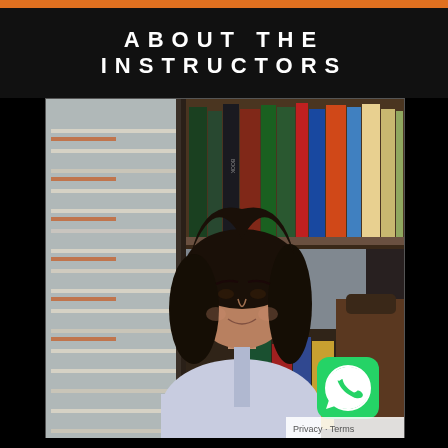ABOUT THE INSTRUCTORS
[Figure (photo): A young woman with long dark hair sitting in front of a bookshelf filled with books on the right and window blinds on the left. A WhatsApp icon appears in the bottom-right corner of the photo. A 'Privacy · Terms' watermark appears at the bottom right.]